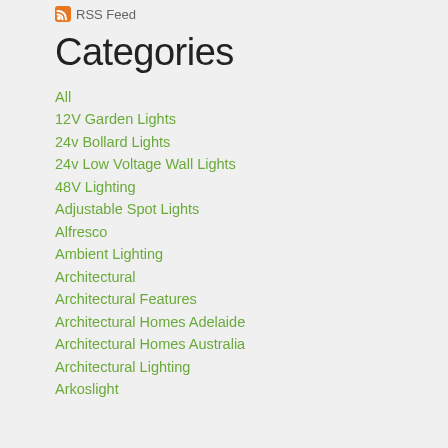RSS Feed
Categories
All
12V Garden Lights
24v Bollard Lights
24v Low Voltage Wall Lights
48V Lighting
Adjustable Spot Lights
Alfresco
Ambient Lighting
Architectural
Architectural Features
Architectural Homes Adelaide
Architectural Homes Australia
Architectural Lighting
Arkoslight